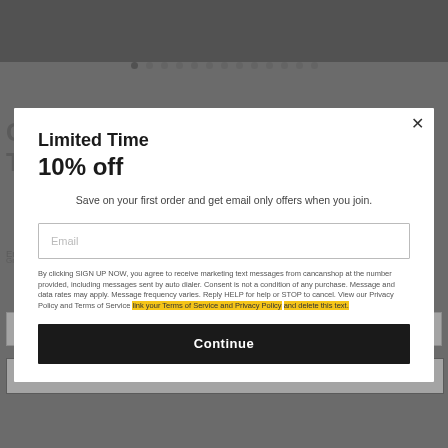[Figure (screenshot): E-commerce product page for CARDIO SHORT-SLEEVE UNISEX T-SHIRT with a modal popup overlay showing a 'Limited Time 10% off' email signup promotion. Modal contains email input, legal text, and a Continue button. Background shows product page with color/size selectors and add to cart button.]
Limited Time
10% off
Save on your first order and get email only offers when you join.
Email
By clicking SIGN UP NOW, you agree to receive marketing text messages from cancanshop at the number provided, including messages sent by auto dialer. Consent is not a condition of any purchase. Message and data rates may apply. Message frequency varies. Reply HELP for help or STOP to cancel. View our Privacy Policy and Terms of Service link your Terms of Service and Privacy Policy and delete this text.
Continue